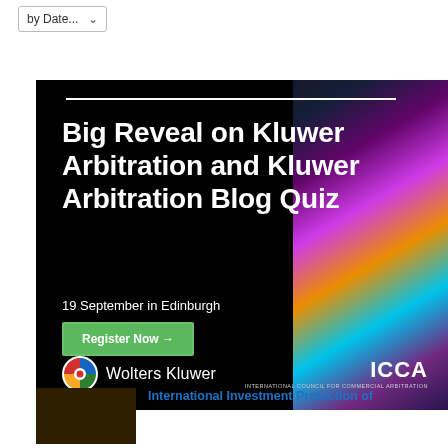by Date...
[Figure (illustration): Advertisement banner with black background and colorful diagonal gradient on right side. White text reads 'Big Reveal on Kluwer Arbitration and Kluwer Arbitration Blog Quiz', date '19 September in Edinburgh', green 'Register Now →' button, Wolters Kluwer logo and ICCA logo at bottom.]
International Investment Protection of